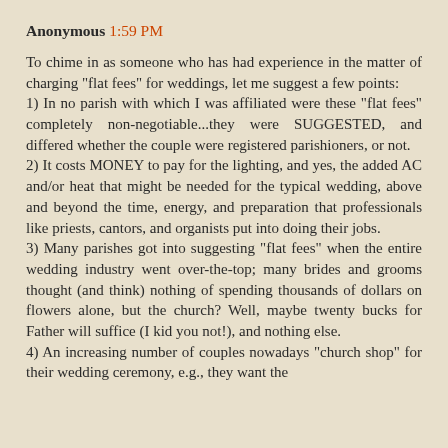Anonymous 1:59 PM
To chime in as someone who has had experience in the matter of charging "flat fees" for weddings, let me suggest a few points:
1) In no parish with which I was affiliated were these "flat fees" completely non-negotiable...they were SUGGESTED, and differed whether the couple were registered parishioners, or not.
2) It costs MONEY to pay for the lighting, and yes, the added AC and/or heat that might be needed for the typical wedding, above and beyond the time, energy, and preparation that professionals like priests, cantors, and organists put into doing their jobs.
3) Many parishes got into suggesting "flat fees" when the entire wedding industry went over-the-top; many brides and grooms thought (and think) nothing of spending thousands of dollars on flowers alone, but the church? Well, maybe twenty bucks for Father will suffice (I kid you not!), and nothing else.
4) An increasing number of couples nowadays "church shop" for their wedding ceremony, e.g., they want the